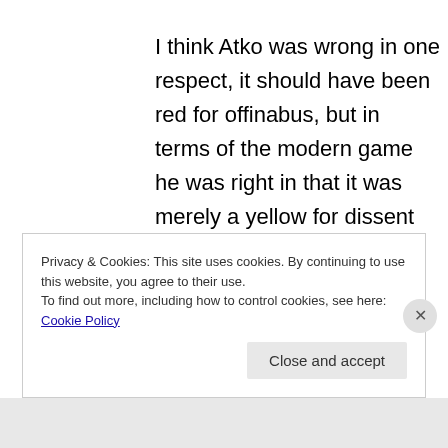I think Atko was wrong in one respect, it should have been red for offinabus, but in terms of the modern game he was right in that it was merely a yellow for dissent and that was it. A red would have been overturned on appeal and Atko would have been (wrongly imo)
Privacy & Cookies: This site uses cookies. By continuing to use this website, you agree to their use.
To find out more, including how to control cookies, see here: Cookie Policy